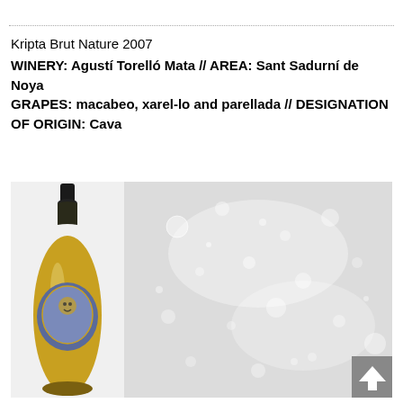Kripta Brut Nature 2007
WINERY: Agustí Torelló Mata // AREA: Sant Sadurní de Noya
GRAPES: macabeo, xarel-lo and parellada // DESIGNATION OF ORIGIN: Cava
[Figure (photo): A distinctive ovoid-shaped wine bottle of Kripta Brut Nature Cava with ornate label showing a face/figure design, displayed against a light grey background with soft bubble/bokeh effect on the right side.]